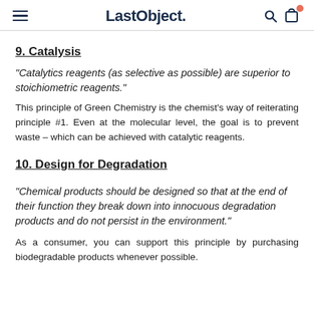LastObject.
9. Catalysis
“Catalytics reagents (as selective as possible) are superior to stoichiometric reagents.”
This principle of Green Chemistry is the chemist’s way of reiterating principle #1. Even at the molecular level, the goal is to prevent waste – which can be achieved with catalytic reagents.
10. Design for Degradation
“Chemical products should be designed so that at the end of their function they break down into innocuous degradation products and do not persist in the environment.”
As a consumer, you can support this principle by purchasing biodegradable products whenever possible.